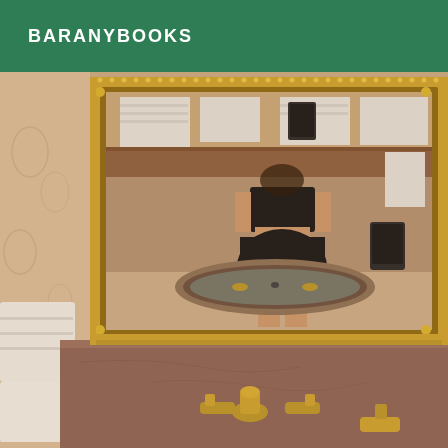BARANYBOOKS
[Figure (photo): A person taking a mirror selfie in a luxurious bathroom. The person is wearing a black crop top and black skirt. The bathroom features an ornate gold-framed mirror, marble countertop with antique gold faucets, a jacuzzi/bathtub visible in the mirror reflection, white towels, and decorative wallpaper. The photo has a warm, brownish tone.]